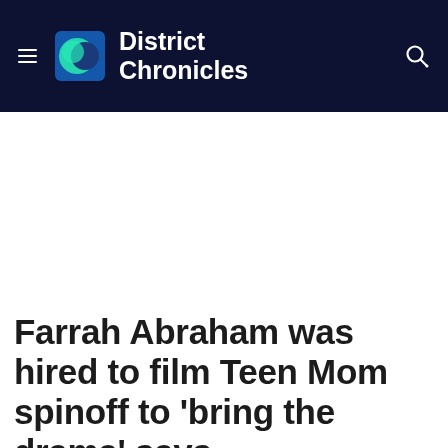District Chronicles
Farrah Abraham was hired to film Teen Mom spinoff to 'bring the drama' says